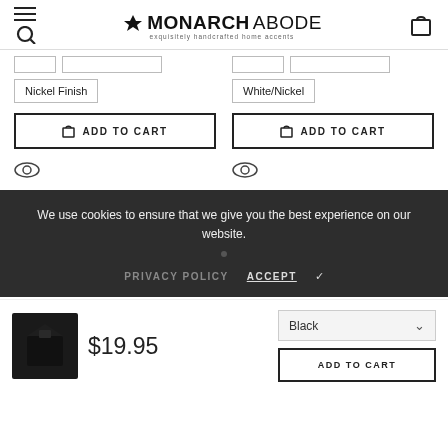MONARCH ABODE — exquisitely handcrafted home accents
Nickel Finish
White/Nickel
ADD TO CART
ADD TO CART
We use cookies to ensure that we give you the best experience on our website.
PRIVACY POLICY
ACCEPT ✓
$19.95
Black
ADD TO CART